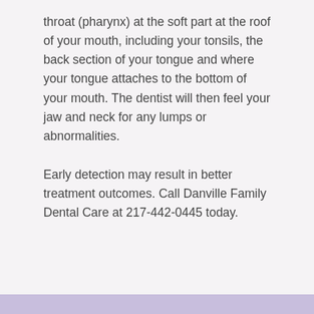throat (pharynx) at the soft part at the roof of your mouth, including your tonsils, the back section of your tongue and where your tongue attaches to the bottom of your mouth. The dentist will then feel your jaw and neck for any lumps or abnormalities.
Early detection may result in better treatment outcomes. Call Danville Family Dental Care at 217-442-0445 today.